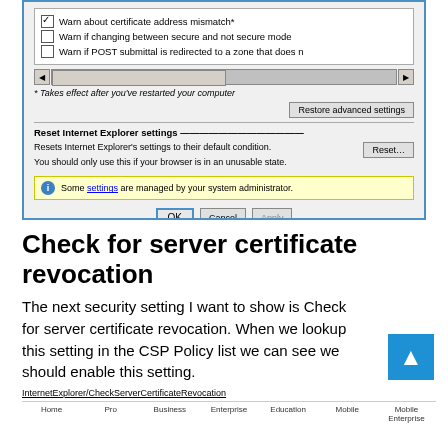[Figure (screenshot): Internet Explorer Advanced Settings dialog showing checkboxes for certificate warnings, restore advanced settings button, reset Internet Explorer settings section, info bar about managed settings, and OK/Cancel/Apply buttons]
Check for server certificate revocation
The next security setting I want to show is Check for server certificate revocation. When we lookup this setting in the CSP Policy list we can see we should enable this setting.
[Figure (table-as-image): Table header showing InternetExplorer/CheckServerCertificateRevocation with columns: Home, Pro, Business, Enterprise, Education, Mobile, Mobile Enterprise]